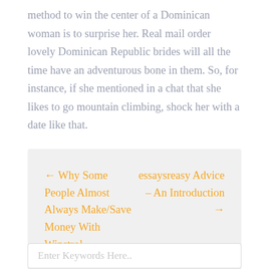method to win the center of a Dominican woman is to surprise her. Real mail order lovely Dominican Republic brides will all the time have an adventurous bone in them. So, for instance, if she mentioned in a chat that she likes to go mountain climbing, shock her with a date like that.
← Why Some People Almost Always Make/Save Money With Winstrol   essaysreasy Advice – An Introduction →
Enter Keywords Here..